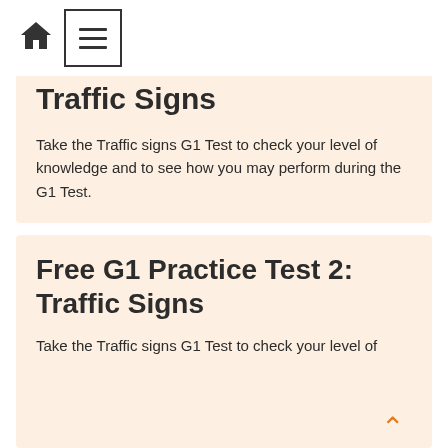[home icon] [menu icon]
Traffic Signs
Take the Traffic signs G1 Test to check your level of knowledge and to see how you may perform during the G1 Test.
Take the Test
Free G1 Practice Test 2: Traffic Signs
Take the Traffic signs G1 Test to check your level of